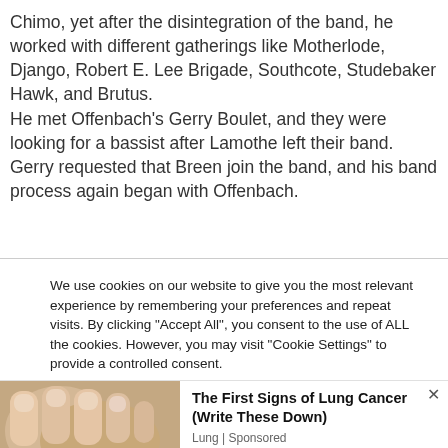Chimo, yet after the disintegration of the band, he worked with different gatherings like Motherlode, Django, Robert E. Lee Brigade, Southcote, Studebaker Hawk, and Brutus. He met Offenbach's Gerry Boulet, and they were looking for a bassist after Lamothe left their band. Gerry requested that Breen join the band, and his band process again began with Offenbach.
We use cookies on our website to give you the most relevant experience by remembering your preferences and repeat visits. By clicking "Accept All", you consent to the use of ALL the cookies. However, you may visit "Cookie Settings" to provide a controlled consent.
[Figure (photo): Close-up photo of fingernails/hand]
The First Signs of Lung Cancer (Write These Down)
Lung | Sponsored